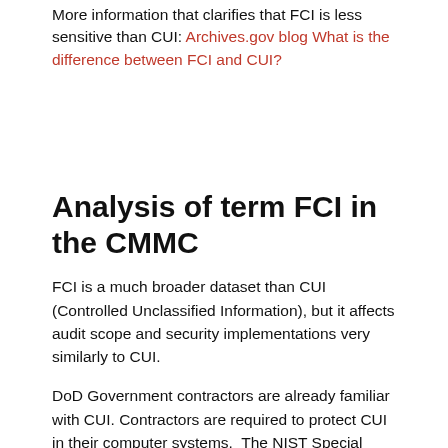More information that clarifies that FCI is less sensitive than CUI: Archives.gov blog What is the difference between FCI and CUI?
Analysis of term FCI in the CMMC
FCI is a much broader dataset than CUI (Controlled Unclassified Information), but it affects audit scope and security implementations very similarly to CUI.
DoD Government contractors are already familiar with CUI.  Contractors are required to protect CUI in their computer systems.  The NIST Special Publication 800-171 describes the cybersecurity measures required to protect CUI.   For the CMMC, Level 3 is the minimum protection for CUI.